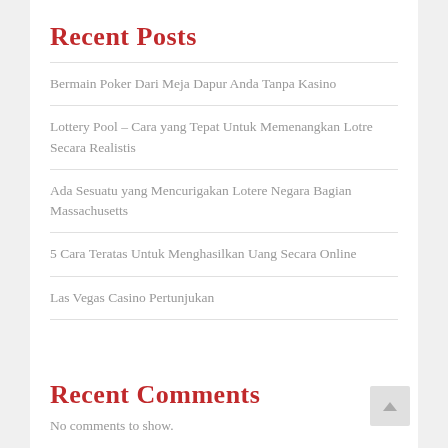Recent Posts
Bermain Poker Dari Meja Dapur Anda Tanpa Kasino
Lottery Pool – Cara yang Tepat Untuk Memenangkan Lotre Secara Realistis
Ada Sesuatu yang Mencurigakan Lotere Negara Bagian Massachusetts
5 Cara Teratas Untuk Menghasilkan Uang Secara Online
Las Vegas Casino Pertunjukan
Recent Comments
No comments to show.